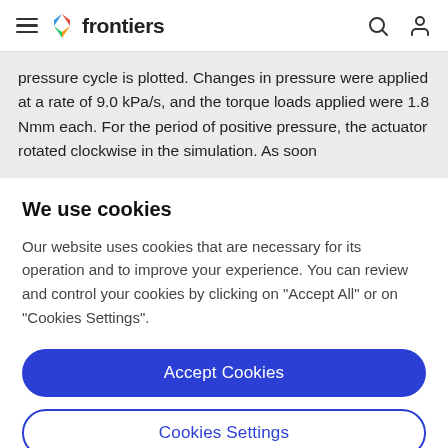frontiers
pressure cycle is plotted. Changes in pressure were applied at a rate of 9.0 kPa/s, and the torque loads applied were 1.8 Nmm each. For the period of positive pressure, the actuator rotated clockwise in the simulation. As soon
We use cookies
Our website uses cookies that are necessary for its operation and to improve your experience. You can review and control your cookies by clicking on "Accept All" or on "Cookies Settings".
Accept Cookies
Cookies Settings